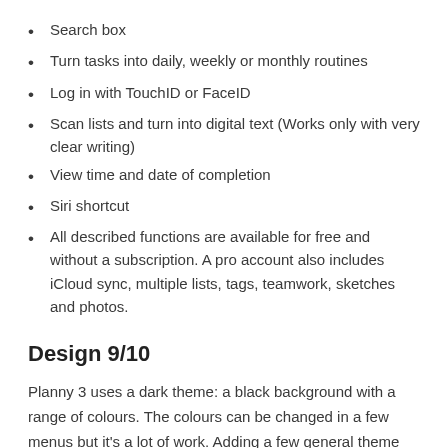Search box
Turn tasks into daily, weekly or monthly routines
Log in with TouchID or FaceID
Scan lists and turn into digital text (Works only with very clear writing)
View time and date of completion
Siri shortcut
All described functions are available for free and without a subscription. A pro account also includes iCloud sync, multiple lists, tags, teamwork, sketches and photos.
Design 9/10
Planny 3 uses a dark theme: a black background with a range of colours. The colours can be changed in a few menus but it's a lot of work. Adding a few general theme options would make